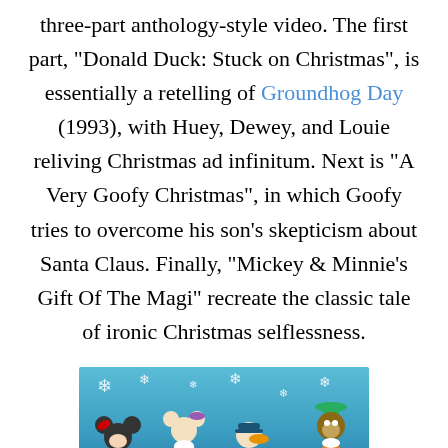three-part anthology-style video. The first part, "Donald Duck: Stuck on Christmas", is essentially a retelling of Groundhog Day (1993), with Huey, Dewey, and Louie reliving Christmas ad infinitum. Next is "A Very Goofy Christmas", in which Goofy tries to overcome his son's skepticism about Santa Claus. Finally, "Mickey & Minnie's Gift Of The Magi" recreate the classic tale of ironic Christmas selflessness.
[Figure (photo): Promotional image showing Disney characters Minnie Mouse, Daisy Duck, Donald Duck, and Goofy standing on a green hill against a blue sky with snowflakes, with Walt Disney logo visible.]